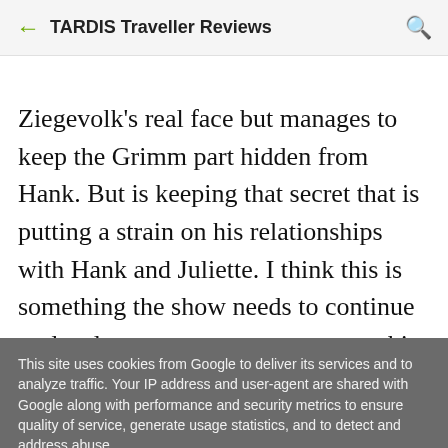TARDIS Traveller Reviews
Ziegevolk's real face but manages to keep the Grimm part hidden from Hank. But is keeping that secret that is putting a strain on his relationships with Hank and Juliette. I think this is something the show needs to continue to develop on screen so we can see him wrestling with his secrets. But anyway, Nick and Hank save
This site uses cookies from Google to deliver its services and to analyze traffic. Your IP address and user-agent are shared with Google along with performance and security metrics to ensure quality of service, generate usage statistics, and to detect and address abuse.
LEARN MORE   OK